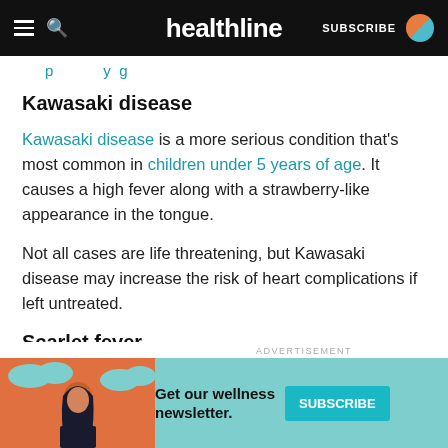healthline — SUBSCRIBE
…p…p…y g…
Kawasaki disease
Kawasaki disease is a more serious condition that's most common in children under 5 years of age. It causes a high fever along with a strawberry-like appearance in the tongue.
Not all cases are life threatening, but Kawasaki disease may increase the risk of heart complications if left untreated.
Scarlet fever
[Figure (illustration): Advertisement banner: Get our wellness newsletter with Subscribe button. Features illustrated woman with dark hair against orange and teal background.]